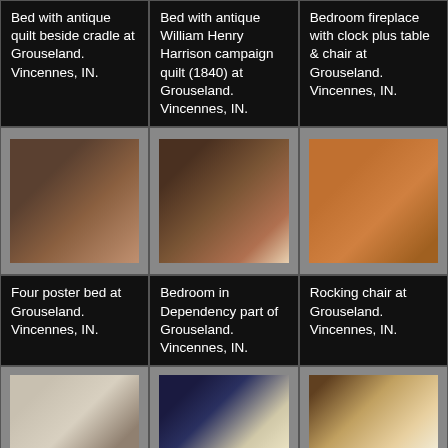Bed with antique quilt beside cradle at Grouseland. Vincennes, IN.
Bed with antique William Henry Harrison campaign quilt (1840) at Grouseland. Vincennes, IN.
Bedroom fireplace with clock plus table & chair at Grouseland. Vincennes, IN.
[Figure (photo): Four poster bed at Grouseland, Vincennes IN]
[Figure (photo): Bedroom in Dependency part of Grouseland, Vincennes IN]
[Figure (photo): Rocking chair at Grouseland, Vincennes IN]
Four poster bed at Grouseland. Vincennes, IN.
Bedroom in Dependency part of Grouseland. Vincennes, IN.
Rocking chair at Grouseland. Vincennes, IN.
[Figure (photo): Dining room scene at Grouseland]
[Figure (photo): Blue and white china tea service with candlestick]
[Figure (photo): Helmet and sword artifact display]